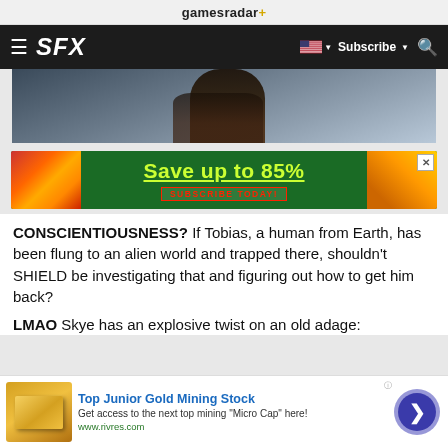gamesradar+
SFX  Subscribe
[Figure (photo): Person with long dark hair wearing a dark jacket, partial view from behind]
[Figure (infographic): Advertisement banner: Save up to 85% SUBSCRIBE TODAY! on green background with pencils]
CONSCIENTIOUSNESS? If Tobias, a human from Earth, has been flung to an alien world and trapped there, shouldn't SHIELD be investigating that and figuring out how to get him back?
LMAO Skye has an explosive twist on an old adage:
[Figure (infographic): Bottom advertisement: Top Junior Gold Mining Stock - Get access to the next top mining 'Micro Cap' here! www.rivres.com]